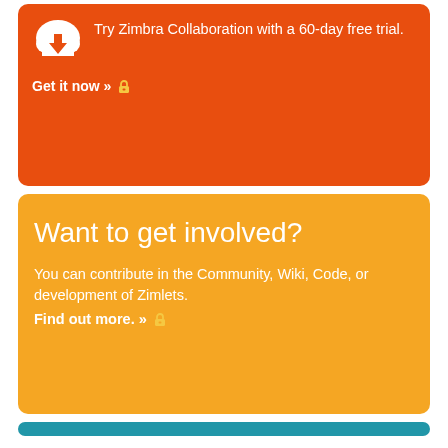Try Zimbra Collaboration with a 60-day free trial.
Get it now »
Want to get involved?
You can contribute in the Community, Wiki, Code, or development of Zimlets.
Find out more. »